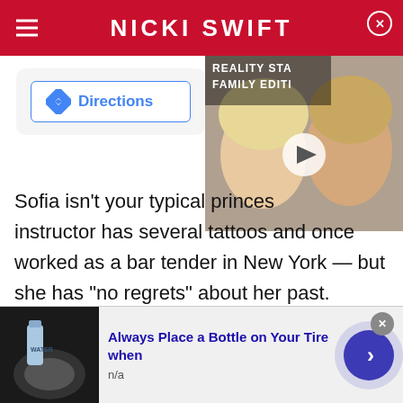NICKI SWIFT
[Figure (screenshot): Google Maps directions widget showing a Directions button with blue diamond navigation icon]
[Figure (photo): Video thumbnail showing two people, text overlay reads REALITY STAR FAMILY EDITION with a play button]
Sofia isn't your typical princess. The fitness instructor has several tattoos and once worked as a bar tender in New York — but she has "no regrets" about her past. Despite rumors that Carl Philip's family was displeased with his choice of partner, both the prince and Sofia have denied this was ever the case. "I felt welcome from day one and nothing else," said the
[Figure (screenshot): Advertisement: Always Place a Bottle on Your Tire when, n/a, with arrow button]